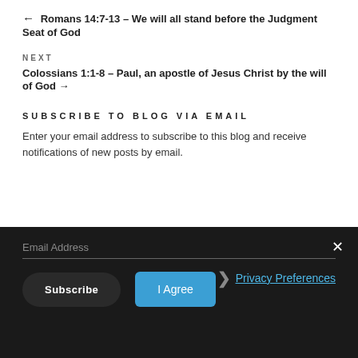← Romans 14:7-13 – We will all stand before the Judgment Seat of God
NEXT
Colossians 1:1-8 – Paul, an apostle of Jesus Christ by the will of God →
SUBSCRIBE TO BLOG VIA EMAIL
Enter your email address to subscribe to this blog and receive notifications of new posts by email.
Email Address
❯ Privacy Preferences
Subscribe
I Agree